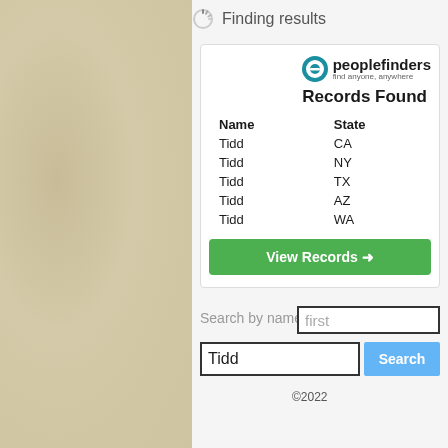Finding results
[Figure (screenshot): PeopleFinders website screenshot showing Records Found for 'Tidd' with results in CA, NY, TX, AZ, WA states, along with a search form and View Records button]
| Name | State |
| --- | --- |
| Tidd | CA |
| Tidd | NY |
| Tidd | TX |
| Tidd | AZ |
| Tidd | WA |
View Records →
Search by name
first
Tidd
Search
©2022